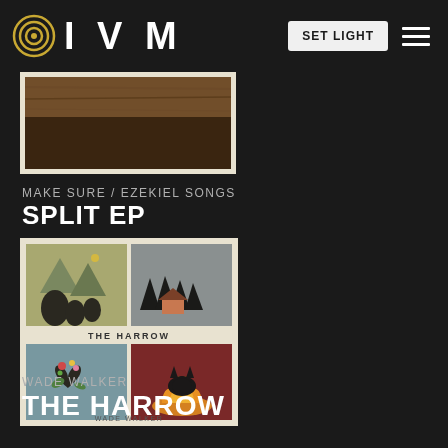IVM | SET LIGHT
[Figure (illustration): Partial view of an album cover showing wooden texture background, cream/off-white border]
MAKE SURE / EZEKIEL SONGS
SPLIT EP
[Figure (illustration): Album cover for The Harrow by Wade Walker. Four quadrant grid: top-left shows mountains/wilderness with dark trees on olive-khaki background; top-right shows trees/cabin on gray background; bottom-left shows floral heart on blue-gray background; bottom-right shows fox with flames on dark red/maroon background. Text 'THE HARROW' in center and 'WADE WALKER' at bottom. Cream/off-white border.]
WADE WALKER
THE HARROW